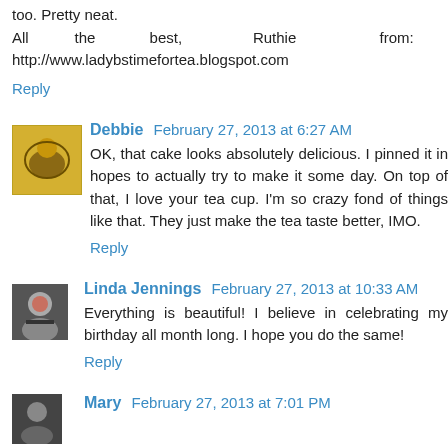too. Pretty neat.
All the best, Ruthie from: http://www.ladybstimefortea.blogspot.com
Reply
Debbie February 27, 2013 at 6:27 AM
OK, that cake looks absolutely delicious. I pinned it in hopes to actually try to make it some day. On top of that, I love your tea cup. I'm so crazy fond of things like that. They just make the tea taste better, IMO.
Reply
Linda Jennings February 27, 2013 at 10:33 AM
Everything is beautiful! I believe in celebrating my birthday all month long. I hope you do the same!
Reply
Mary February 27, 2013 at 7:01 PM